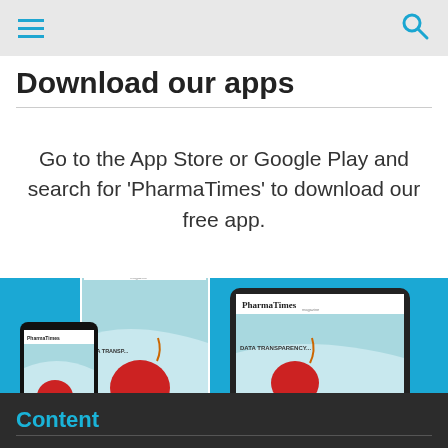Download our apps
Go to the App Store or Google Play and search for 'PharmaTimes' to download our free app.
[Figure (photo): PharmaTimes magazine shown on phone, magazine cover print, and tablet against a teal/blue background. Shows 'PharmaTimes magazine' covers with illustrated panda character on red bomb motif and DATA TRANSPARENCY headlines.]
Content